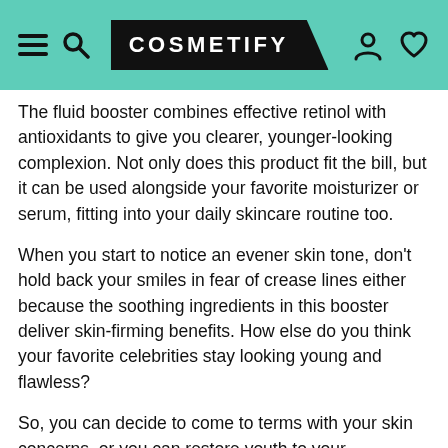COSMETIFY
The fluid booster combines effective retinol with antioxidants to give you clearer, younger-looking complexion. Not only does this product fit the bill, but it can be used alongside your favorite moisturizer or serum, fitting into your daily skincare routine too.
When you start to notice an evener skin tone, don't hold back your smiles in fear of crease lines either because the soothing ingredients in this booster deliver skin-firming benefits. How else do you think your favorite celebrities stay looking young and flawless?
So, you can decide to come to terms with your skin concerns, or you can restore youth to your appearance. It was the founder Paula Begoun's choice to share this beautiful gift with you, but it's